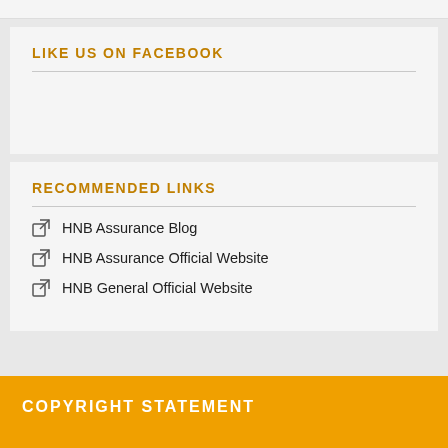LIKE US ON FACEBOOK
RECOMMENDED LINKS
HNB Assurance Blog
HNB Assurance Official Website
HNB General Official Website
COPYRIGHT STATEMENT